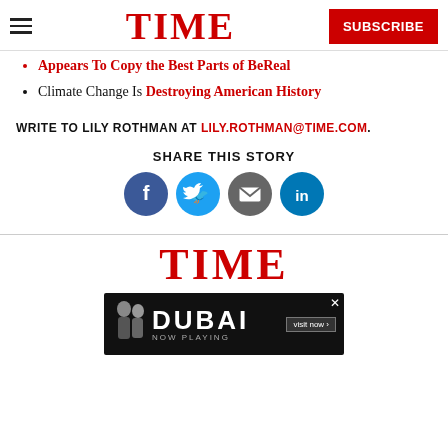TIME — SUBSCRIBE
Appears To Copy the Best Parts of BeReal
Climate Change Is Destroying American History
WRITE TO LILY ROTHMAN AT LILY.ROTHMAN@TIME.COM.
SHARE THIS STORY
[Figure (infographic): Social share icons: Facebook (blue circle), Twitter (cyan circle), Email (gray circle), LinkedIn (teal circle)]
[Figure (logo): TIME logo in red at bottom of page]
[Figure (infographic): Dubai advertisement banner with two people, Dubai text, Now Playing subtitle, and Visit Now button with close X]